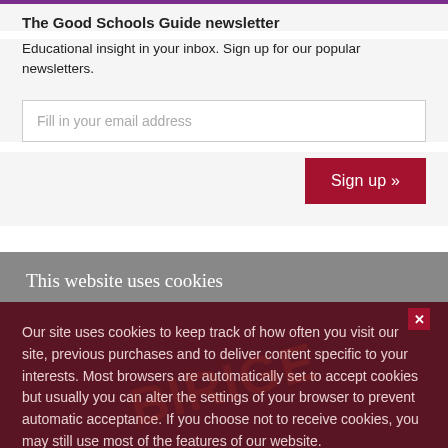The Good Schools Guide newsletter
Educational insight in your inbox. Sign up for our popular newsletters.
Fill in your email address
Sign up »
This website uses cookies
Our site uses cookies to keep track of how often you visit our site, previous purchases and to deliver content specific to your interests. Most browsers are automatically set to accept cookies but usually you can alter the settings of your browser to prevent automatic acceptance. If you choose not to receive cookies, you may still use most of the features of our website.